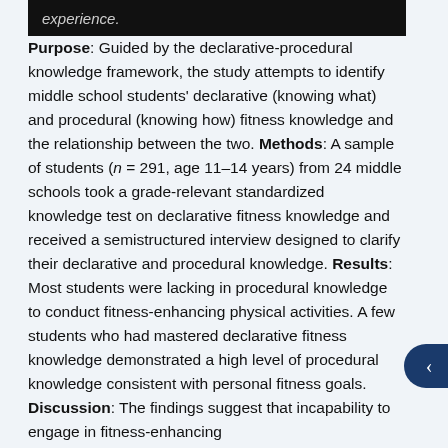experience.
Purpose: Guided by the declarative-procedural knowledge framework, the study attempts to identify middle school students' declarative (knowing what) and procedural (knowing how) fitness knowledge and the relationship between the two. Methods: A sample of students (n = 291, age 11-14 years) from 24 middle schools took a grade-relevant standardized knowledge test on declarative fitness knowledge and received a semistructured interview designed to clarify their declarative and procedural knowledge. Results: Most students were lacking in procedural knowledge to conduct fitness-enhancing physical activities. A few students who had mastered declarative fitness knowledge demonstrated a high level of procedural knowledge consistent with personal fitness goals. Discussion: The findings suggest that incapability to engage in fitness-enhancing